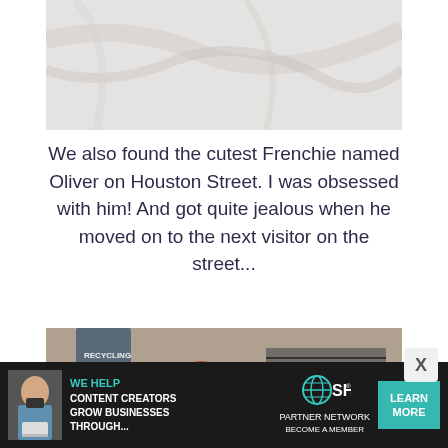[Figure (photo): Top portion of a photo showing a light marble or tiled surface background, partially cropped.]
We also found the cutest Frenchie named Oliver on Houston Street. I was obsessed with him! And got quite jealous when he moved on to the next visitor on the street...
[Figure (photo): Photo of people on a city street petting a dog (French Bulldog). A person with red hair wearing sunglasses and black top, another person in camo jacket with striped shirt bending down, and someone in a dark navy shirt with 'RECYCLING' text visible in the background against a brick wall.]
[Figure (other): Advertisement banner: 'WE HELP CONTENT CREATORS GROW BUSINESSES THROUGH...' with SHE PARTNER NETWORK logo and 'LEARN MORE' button on dark background. Features a woman with glasses holding a laptop.]